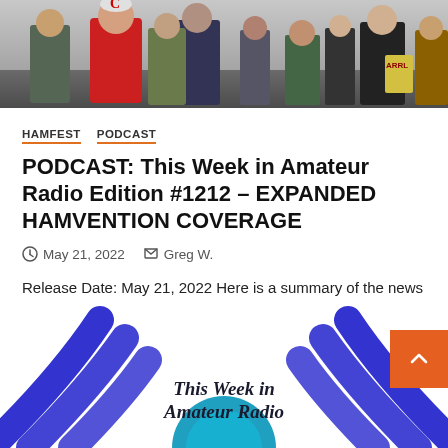[Figure (photo): Photograph of a crowd of people at what appears to be a hamfest or outdoor event, partially visible at top of page]
HAMFEST  PODCAST
PODCAST: This Week in Amateur Radio Edition #1212 – EXPANDED HAMVENTION COVERAGE
May 21, 2022  Greg W.
Release Date: May 21, 2022 Here is a summary of the news trending This Week in Amateur Radio. This week's...
[Figure (logo): This Week in Amateur Radio logo with blue radio wave arcs and teal globe in center, text reads 'This Week in Amateur Radio']